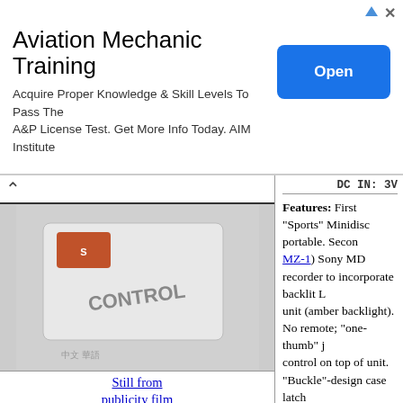[Figure (infographic): Aviation Mechanic Training advertisement banner with title, description text, and blue Open button]
Still from publicity film shows mockup with "MZ-0000" badging
(note orange gaskets) (1024x768)
[Figure (photo): Photo of Sony MD sports unit showing orange gaskets]
[Figure (photo): Bottom view of Sony MD unit]
DC IN: 3V
Features: First "Sports" Minidisc portable. Second (after MZ-1) Sony MD recorder to incorporate backlit LCD unit (amber backlight). No remote; "one-thumb" jog control on top of unit. "Buckle"-design case latch for improved ruggedness. Bright reflective surface (p... to reduce solar heating and make finding a dropped ... easier). Sony states "Splash Proof Water-Resistant ... with high-impact plastic housing is designed for o... with rubber gaskets, bushings, and waterproof sea... keep out water, moisture, and dirt" but clarifies "N... be immersed in or come into continuous contact w... No Mic input, no remote jack.
Links:
SonyStyle page for the unit.
A One9ine (great name!) quicktime movie of Sony's "Sports" gear includes the unit.
IGN review of the unit.